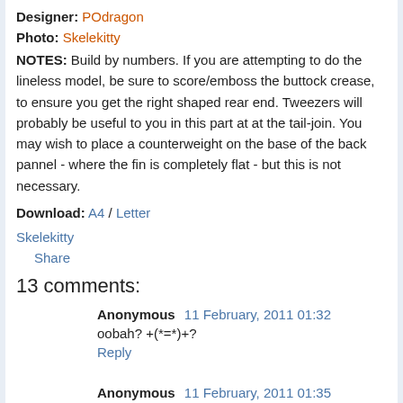Designer: POdragon
Photo: Skelekitty
NOTES: Build by numbers. If you are attempting to do the lineless model, be sure to score/emboss the buttock crease, to ensure you get the right shaped rear end. Tweezers will probably be useful to you in this part at at the tail-join. You may wish to place a counterweight on the base of the back pannel - where the fin is completely flat - but this is not necessary.
Download: A4 / Letter
Skelekitty
Share
13 comments:
Anonymous  11 February, 2011 01:32
oobah? +(*=*)+?
Reply
Anonymous  11 February, 2011 01:35